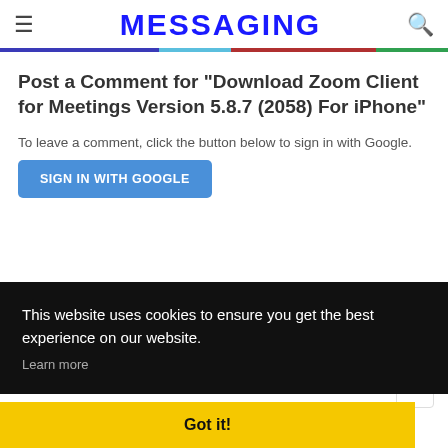MESSAGING
Post a Comment for "Download Zoom Client for Meetings Version 5.8.7 (2058) For iPhone"
To leave a comment, click the button below to sign in with Google.
SIGN IN WITH GOOGLE
This website uses cookies to ensure you get the best experience on our website.
Learn more
Got it!